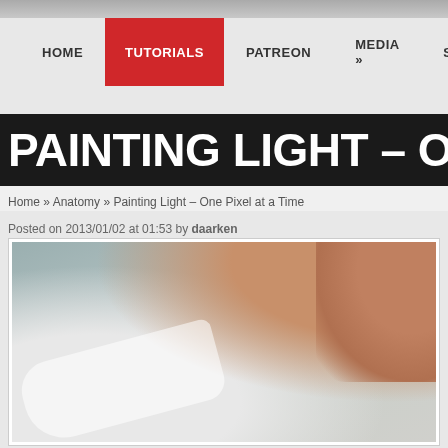Navigation bar: HOME | TUTORIALS | PATREON | MEDIA » | STORE | IN...
PAINTING LIGHT – ONE PIXI...
Home » Anatomy » Painting Light – One Pixel at a Time
Posted on 2013/01/02 at 01:53 by daarken
[Figure (photo): Photo of a person's arm/hand holding or touching white fabric or paper, with a muted blue-gray wall in the background. Skin tones visible on the right side.]